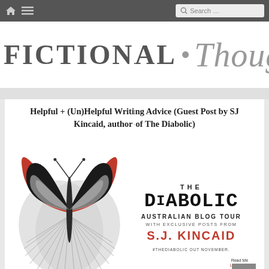FICTIONAL • Thoughts — navigation bar with search
FICTIONAL • Thoughts
Helpful + (Un)Helpful Writing Advice (Guest Post by SJ Kincaid, author of The Diabolic)
[Figure (illustration): The Diabolic Australian Blog Tour banner image. Left side: a stylized butterfly with red and black upper wings and metallic silver lower wings. Right side: text reading 'THE DIABOLIC AUSTRALIAN BLOG TOUR WITH EXCLUSIVE POSTS FROM S.J. KINCAID #THEDIABOLIC OUT NOVEMBER.' Small badge in lower right reads 'Read Me Love Me Share Me'.]